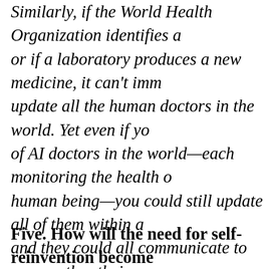Similarly, if the World Health Organization identifies a new disease, or if a laboratory produces a new medicine, it can't immediately update all the human doctors in the world. Yet even if you had billions of AI doctors in the world—each monitoring the health of a single human being—you could still update all of them within a few seconds, and they could all communicate to one another their assessments of the new disease or medicine. These potential advantages of connectivity and updatability are so huge that at least in some fields of work, it might make sense to replace all humans with computers, even if individually some humans still do a better job than the computer.
Five. How will the need for self-reinvention become a more stressful and constant undertaking? We read: